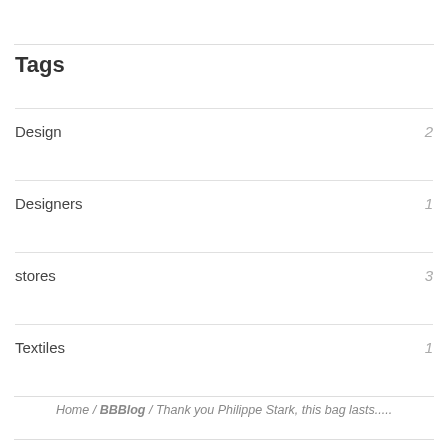Tags
Design  2
Designers  1
stores  3
Textiles  1
Home / BBBlog / Thank you Philippe Stark, this bag lasts.....